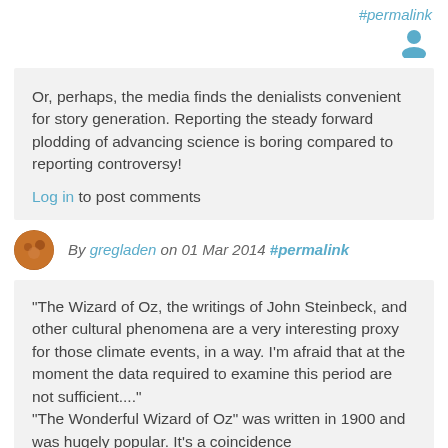#permalink
[Figure (illustration): User account icon in blue]
Or, perhaps, the media finds the denialists convenient for story generation. Reporting the steady forward plodding of advancing science is boring compared to reporting controversy!
Log in to post comments
By gregladen on 01 Mar 2014 #permalink
"The Wizard of Oz, the writings of John Steinbeck, and other cultural phenomena are a very interesting proxy for those climate events, in a way. I'm afraid that at the moment the data required to examine this period are not sufficient...."
"The Wonderful Wizard of Oz" was written in 1900 and was hugely popular. It's a coincidence